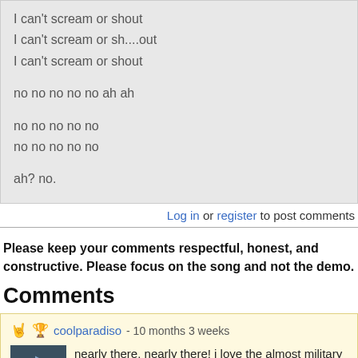I can't scream or shout
I can't scream or sh....out
I can't scream or shout

no no no no no ah ah

no no no no no
no no no no no

ah? no.
Log in or register to post comments
Please keep your comments respectful, honest, and constructive. Please focus on the song and not the demo.
Comments
coolparadiso - 10 months 3 weeks
nearly there, nearly there! i love the almost military drumming and that little no no in the back! No insightful suggestions . This is really good!